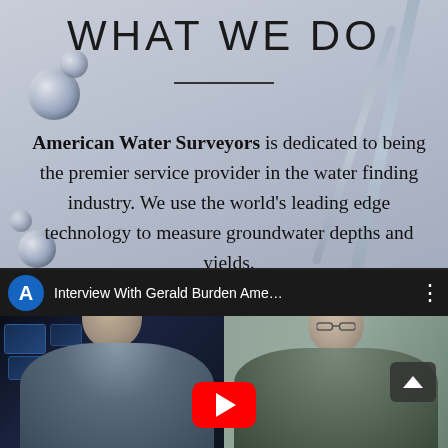WHAT WE DO
American Water Surveyors is dedicated to being the premier service provider in the water finding industry. We use the world’s leading edge technology to measure groundwater depths and yields.
[Figure (screenshot): YouTube video thumbnail/player showing an interview titled 'Interview With Gerald Burden Ame...' with two people visible and a YouTube play button overlay. A blue circle avatar with letter A is shown in the video bar.]